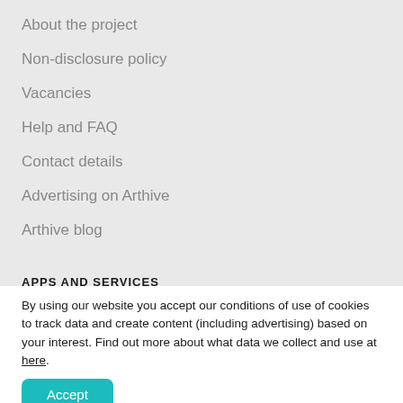About the project
Non-disclosure policy
Vacancies
Help and FAQ
Contact details
Advertising on Arthive
Arthive blog
APPS AND SERVICES
Create a site of an artist or a gallery.
By using our website you accept our conditions of use of cookies to track data and create content (including advertising) based on your interest. Find out more about what data we collect and use at here.
Accept